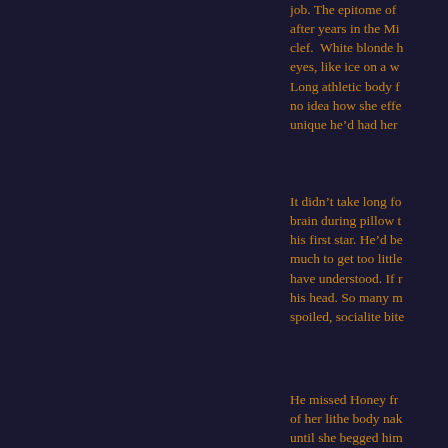job. The epitome of after years in the Mi clef. White blonde h eyes, like ice on a w Long athletic body f no idea how she effe unique he'd had her
It didn't take long fo brain during pillow t his first star. He'd be much to get too little have understood. If r his head. So many m spoiled, socialite bite
He missed Honey fr of her lithe body nak until she begged him control. He couldn't a mistake letting her